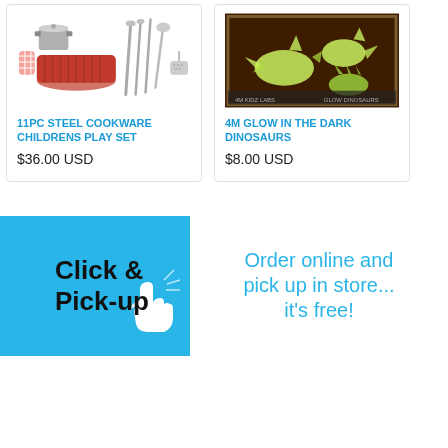[Figure (photo): Product image of 11PC Steel Cookware Childrens Play Set]
11PC STEEL COOKWARE CHILDRENS PLAY SET
$36.00 USD
[Figure (photo): Product image of 4M Glow in the Dark Dinosaurs kit]
4M GLOW IN THE DARK DINOSAURS
$8.00 USD
[Figure (infographic): Click & Pick-up banner with hand cursor icon on blue background, and text: Order online and pick up in store... it's free!]